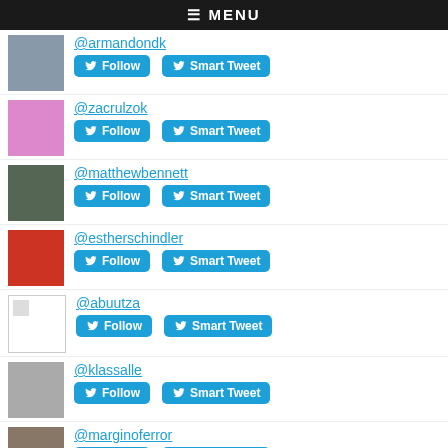≡ MENU
@armandondk — Follow | Smart Tweet
@zacrulzok — Follow | Smart Tweet
@matthewbennett — Follow | Smart Tweet
@estherschindler — Follow | Smart Tweet
@abuutza — Follow | Smart Tweet
@klassalle — Follow | Smart Tweet
@marginoferror — Follow | Smart Tweet
@clifsoulo — Follow | Smart Tweet